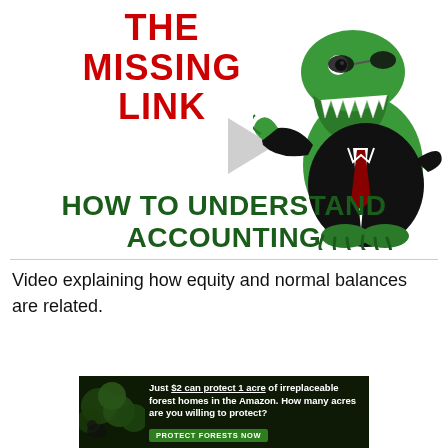[Figure (illustration): Video thumbnail showing bold red text 'THE MISSING LINK' on the left, a green cartoon T-Rex dinosaur in a business suit on the right, a play button triangle in the center-right area, and large dark green bold text 'HOW TO UNDERSTAND ACCOUNTING' at the bottom of the image.]
Video explaining how equity and normal balances are related.
[Figure (infographic): Amazon forest protection advertisement banner. Dark background with forest image on left side. Text: 'Just $2 can protect 1 acre of irreplaceable forest homes in the Amazon. How many acres are you willing to protect?' with green 'PROTECT FORESTS NOW' button.]